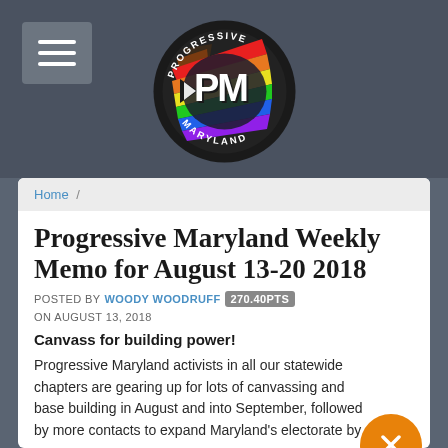[Figure (logo): Progressive Maryland logo — circular badge with rainbow pride flag colors and stylized 'PM' letters, black border with 'PROGRESSIVE MARYLAND' text]
Home /
Progressive Maryland Weekly Memo for August 13-20 2018
POSTED BY WOODY WOODRUFF 270.40PTS ON AUGUST 13, 2018
Canvass for building power!
Progressive Maryland activists in all our statewide chapters are gearing up for lots of canvassing and base building in August and into September, followed by more contacts to expand Maryland's electorate by